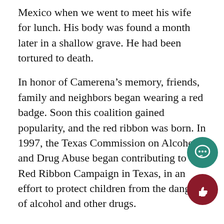Mexico when we went to meet his wife for lunch. His body was found a month later in a shallow grave. He had been tortured to death.
In honor of Camerena’s memory, friends, family and neighbors began wearing a red badge. Soon this coalition gained popularity, and the red ribbon was born. In 1997, the Texas Commission on Alcohol and Drug Abuse began contributing to the Red Ribbon Campaign in Texas, in an effort to protect children from the dangers of alcohol and other drugs.
Here are the days for spirit week for a fight against drugs:
Monday – “Red Out!” Students and Staff will wear to show their pride in being drug free
Tuesday – “Lei Off Drugs!” Students and staff will wear tropical attire